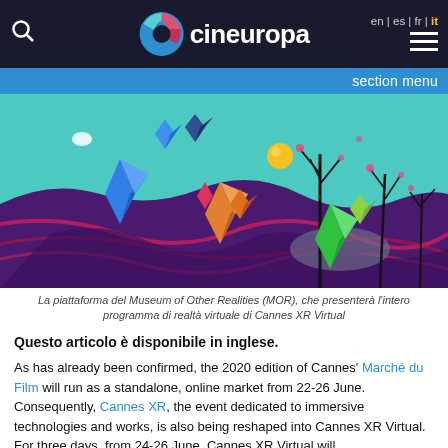cineuropa | en | es | fr | it
[Figure (illustration): Colorful 3D digital art scene with gem/crystal shapes floating over a purple and red swirling landscape with bare dark trees and a teal sky — La piattaforma del Museum of Other Realities (MOR)]
La piattaforma del Museum of Other Realities (MOR), che presenterà l'intero programma di realtà virtuale di Cannes XR Virtual
Questo articolo è disponibile in inglese.
As has already been confirmed, the 2020 edition of Cannes' Marché du Film will run as a standalone, online market from 22-26 June. Consequently, Cannes XR, the event dedicated to immersive technologies and works, is also being reshaped into Cannes XR Virtual. For three days, from 24-26 June, Cannes XR Virtual will